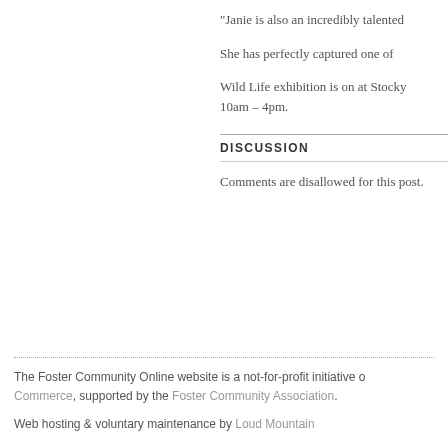“Janie is also an incredibly talented
She has perfectly captured one of
Wild Life exhibition is on at Stocky... 10am – 4pm.
DISCUSSION
Comments are disallowed for this post.
The Foster Community Online website is a not-for-profit initiative c... Commerce, supported by the Foster Community Association.
Web hosting & voluntary maintenance by Loud Mountain